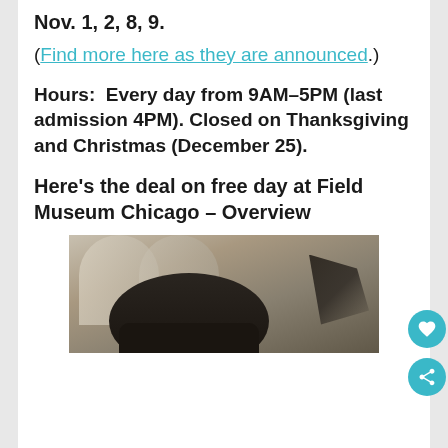Nov. 1, 2, 8, 9.
(Find more here as they are announced.)
Hours:  Every day from 9AM–5PM (last admission 4PM). Closed on Thanksgiving and Christmas (December 25).
Here's the deal on free day at Field Museum Chicago – Overview
[Figure (photo): Photograph of a T-rex skull fossil displayed in the Field Museum Chicago, with arched colonnade architecture visible in the background and what appears to be a pterodactyl fossil wing on the right.]